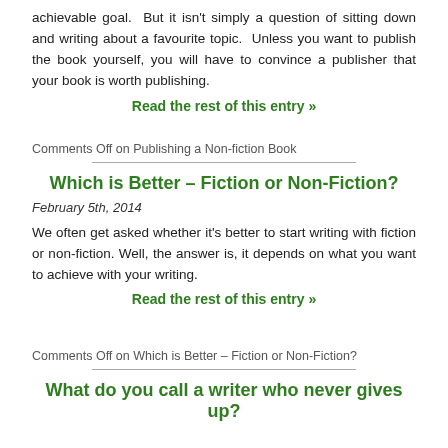achievable goal.  But it isn't simply a question of sitting down and writing about a favourite topic.  Unless you want to publish the book yourself, you will have to convince a publisher that your book is worth publishing.
Read the rest of this entry »
Comments Off on Publishing a Non-fiction Book
Which is Better – Fiction or Non-Fiction?
February 5th, 2014
We often get asked whether it's better to start writing with fiction or non-fiction. Well, the answer is, it depends on what you want to achieve with your writing.
Read the rest of this entry »
Comments Off on Which is Better – Fiction or Non-Fiction?
What do you call a writer who never gives up?